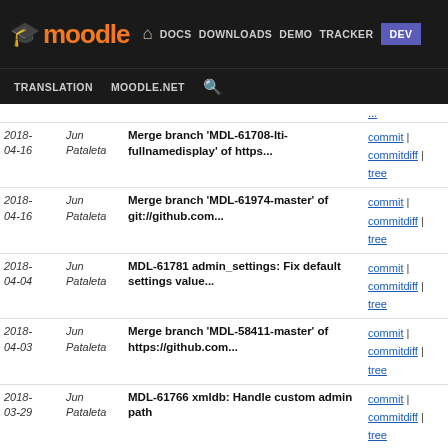Moodle — DOCS DOWNLOADS DEMO TRACKER DEV | TRANSLATION MOODLE.NET
| Date | Author | Commit Message | Links |
| --- | --- | --- | --- |
| 2018-04-16 | Jun Pataleta | Merge branch 'MDL-61708-lti-fullnamedisplay' of https... | commit | commitdiff | tree |
| 2018-04-16 | Jun Pataleta | Merge branch 'MDL-61974-master' of git://github.com... | commit | commitdiff | tree |
| 2018-04-04 | Jun Pataleta | MDL-61781 admin_settings: Fix default settings value... | commit | commitdiff | tree |
| 2018-04-03 | Jun Pataleta | Merge branch 'MDL-58411-master' of https://github.com... | commit | commitdiff | tree |
| 2018-03-29 | Jun Pataleta | MDL-61766 xmldb: Handle custom admin path | commit | commitdiff | tree |
| 2018-03-29 | Jun Pataleta | weekly release 3.5dev | commit | commitdiff | tree |
| 2018-03-29 | Jun Pataleta | Merge branch 'install_master' of https://git.in.moodle... | commit | commitdiff | tree |
| 2018-03-29 | Jun Pataleta | MDL-53226 search_simpledb: Fix table name in query | commit | commitdiff | tree |
| 2018-03-28 | Jun Pataleta | Merge branch 'MDL-60762-master' of git://github.com... | commit | commitdiff | tree |
| 2018-03-28 | Jun Pataleta | Merge branch 'wip-MDL-61328-master' of git://github | commit | commitdiff | |